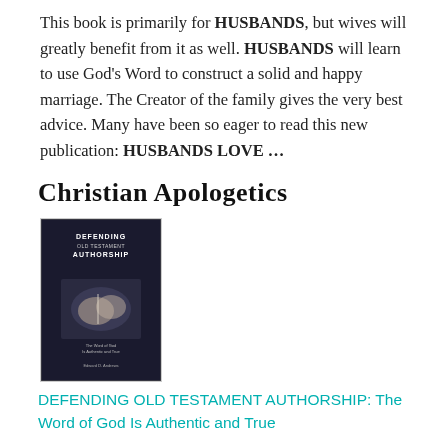This book is primarily for HUSBANDS, but wives will greatly benefit from it as well. HUSBANDS will learn to use God's Word to construct a solid and happy marriage. The Creator of the family gives the very best advice. Many have been so eager to read this new publication: HUSBANDS LOVE …
Christian Apologetics
[Figure (illustration): Book cover of 'Defending Old Testament Authorship: The Word of God Is Authentic and True' by Edward D. Andrews. Dark background with an image of hands holding a book/scroll.]
DEFENDING OLD TESTAMENT AUTHORSHIP: The Word of God Is Authentic and True